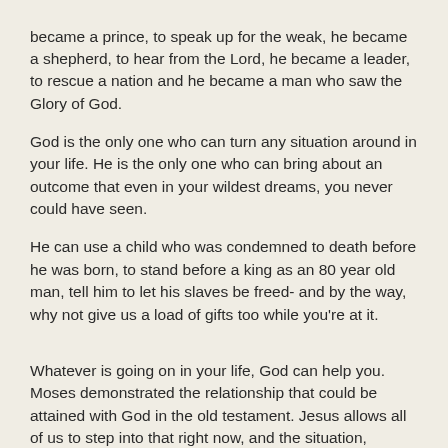became a prince, to speak up for the weak, he became a shepherd, to hear from the Lord, he became a leader, to rescue a nation and he became a man who saw the Glory of God.
God is the only one who can turn any situation around in your life. He is the only one who can bring about an outcome that even in your wildest dreams, you never could have seen.
He can use a child who was condemned to death before he was born, to stand before a king as an 80 year old man, tell him to let his slaves be freed- and by the way, why not give us a load of gifts too while you're at it.
Whatever is going on in your life, God can help you. Moses demonstrated the relationship that could be attained with God in the old testament. Jesus allows all of us to step into that right now, and the situation, whatever it is, is never too big for God to intervene in.
Roger C.